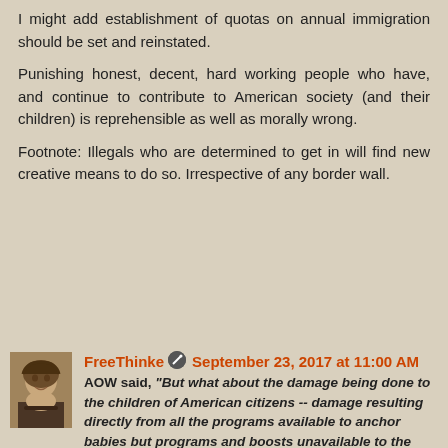I might add establishment of quotas on annual immigration should be set and reinstated.
Punishing honest, decent, hard working people who have, and continue to contribute to American society (and their children) is reprehensible as well as morally wrong.
Footnote: Illegals who are determined to get in will find new creative means to do so. Irrespective of any border wall.
FreeThinke  September 23, 2017 at 11:00 AM
AOW said, "But what about the damage being done to the children of American citizens -- damage resulting directly from all the programs available to anchor babies but programs and boosts unavailable to the children of American citizens? We shouldn't forget about that latter group of children!"